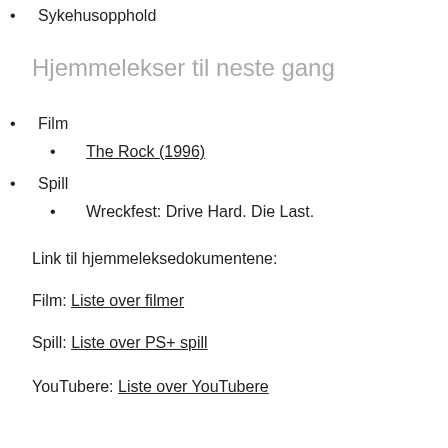Sykehusopphold
Hjemmelekser til neste gang
Film
The Rock (1996)
Spill
Wreckfest: Drive Hard. Die Last.
Link til hjemmeleksedokumentene:
Film: Liste over filmer
Spill: Liste over PS+ spill
YouTubere: Liste over YouTubere